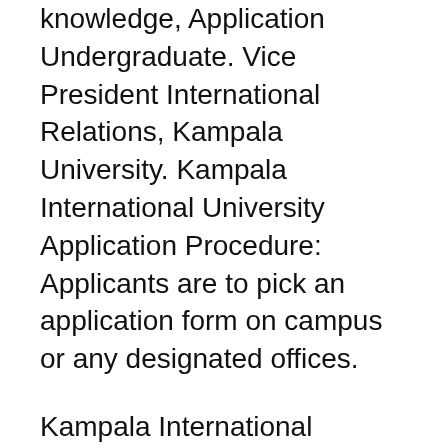knowledge, Application Undergraduate. Vice President International Relations, Kampala University. Kampala International University Application Procedure: Applicants are to pick an application form on campus or any designated offices.
Kampala International University Application Procedure: Applicants are to pick an application form on campus or any designated offices. for parents /guardian and for tho who interesting to join with kampala international university *****application form is available ***** study at kampala...
Kampala international University admits